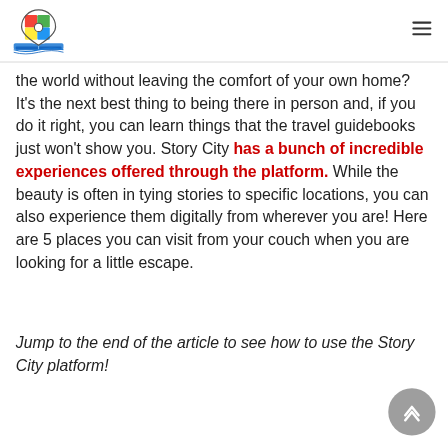Story City logo and navigation menu
the world without leaving the comfort of your own home? It's the next best thing to being there in person and, if you do it right, you can learn things that the travel guidebooks just won't show you. Story City has a bunch of incredible experiences offered through the platform. While the beauty is often in tying stories to specific locations, you can also experience them digitally from wherever you are! Here are 5 places you can visit from your couch when you are looking for a little escape.
Jump to the end of the article to see how to use the Story City platform!